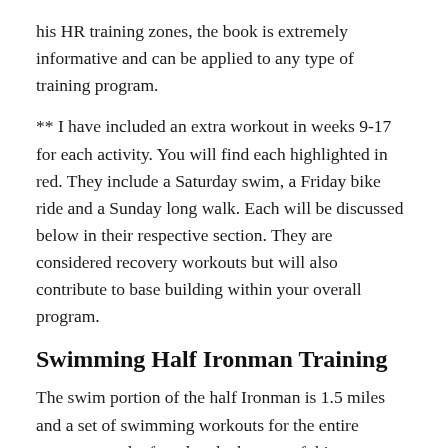his HR training zones, the book is extremely informative and can be applied to any type of training program.
** I have included an extra workout in weeks 9-17 for each activity. You will find each highlighted in red. They include a Saturday swim, a Friday bike ride and a Sunday long walk. Each will be discussed below in their respective section. They are considered recovery workouts but will also contribute to base building within your overall program.
Swimming Half Ironman Training
The swim portion of the half Ironman is 1.5 miles and a set of swimming workouts for the entire program can be found at the bottom of this page. They were designed for training in a 25 yard pool. If you are swimming in a 25 meter pool, you can use the same workouts. Every 50 meters and they will be...